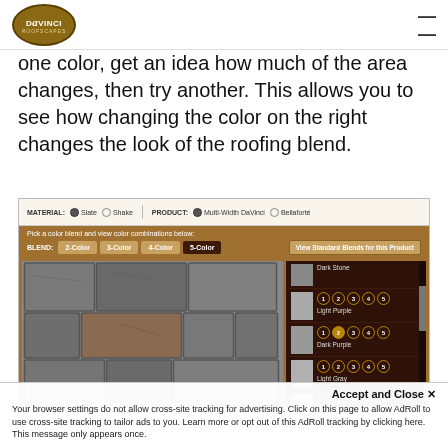DaVinci [logo]
one color, get an idea how much of the area changes, then try another. This allows you to see how changing the color on the right changes the look of the roofing blend.
[Figure (screenshot): Screenshot of a DaVinci roofing color selector tool showing: material options (Slate/Shake), product options (Multi-Width DaVinci/Bellaforté), blend selection (2-Color, 3-Color, 4-Color, 5-Color active), a roofing image showing slate tiles in gray/brown, and a color sidebar with Dark Stone, Light Purple, Dark Purple, Light Gray, Medium Gray options each with numbered position circles 1-5.]
Accept and Close ✕
Your browser settings do not allow cross-site tracking for advertising. Click on this page to allow AdRoll to use cross-site tracking to tailor ads to you. Learn more or opt out of this AdRoll tracking by clicking here. This message only appears once.